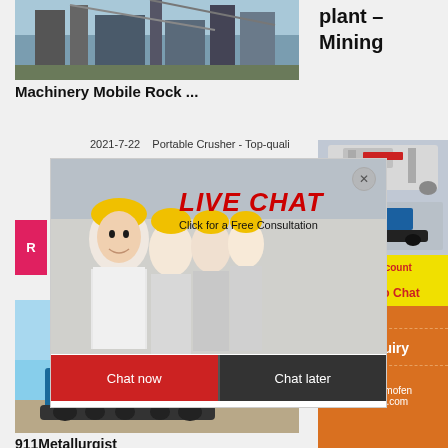[Figure (photo): Industrial mining plant or cement factory with large metal structures and cranes]
Machinery Mobile Rock ...
plant – Mining
2021-7-22    Portable Crusher - Top-quali
[Figure (photo): Live Chat popup with workers in yellow hard hats and a woman in white shirt smiling. Text: LIVE CHAT - Click for a Free Consultation. Buttons: Chat now, Chat later]
[Figure (photo): Blue mobile rock crusher/screening machine in an open field]
911Metallurgist
[Figure (photo): Orange sidebar panel with machinery images, Enjoy 3% discount badge, Click to Chat button, Rock text, Enquiry section, and email limingjlmofen@sina.com]
Enjoy 3% discount
Click to Chat
Rock
Enquiry
limingjlmofen@sina.com